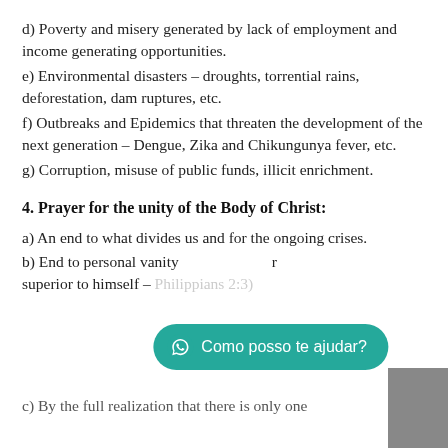d) Poverty and misery generated by lack of employment and income generating opportunities.
e) Environmental disasters – droughts, torrential rains, deforestation, dam ruptures, etc.
f) Outbreaks and Epidemics that threaten the development of the next generation – Dengue, Zika and Chikungunya fever, etc.
g) Corruption, misuse of public funds, illicit enrichment.
4. Prayer for the unity of the Body of Christ:
a) An end to what divides us and for the ongoing crises.
b) End to personal vanity … superior to himself – Philippians 2:3)
c) By the full realization that there is only one…